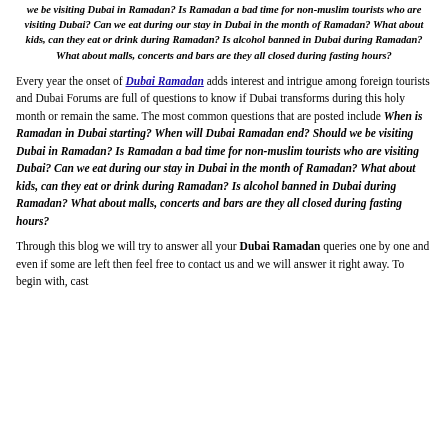we be visiting Dubai in Ramadan? Is Ramadan a bad time for non-muslim tourists who are visiting Dubai? Can we eat during our stay in Dubai in the month of Ramadan? What about kids, can they eat or drink during Ramadan? Is alcohol banned in Dubai during Ramadan? What about malls, concerts and bars are they all closed during fasting hours?
Every year the onset of Dubai Ramadan adds interest and intrigue among foreign tourists and Dubai Forums are full of questions to know if Dubai transforms during this holy month or remain the same. The most common questions that are posted include When is Ramadan in Dubai starting? When will Dubai Ramadan end? Should we be visiting Dubai in Ramadan? Is Ramadan a bad time for non-muslim tourists who are visiting Dubai? Can we eat during our stay in Dubai in the month of Ramadan? What about kids, can they eat or drink during Ramadan? Is alcohol banned in Dubai during Ramadan? What about malls, concerts and bars are they all closed during fasting hours?
Through this blog we will try to answer all your Dubai Ramadan queries one by one and even if some are left then feel free to contact us and we will answer it right away. To begin with, cast